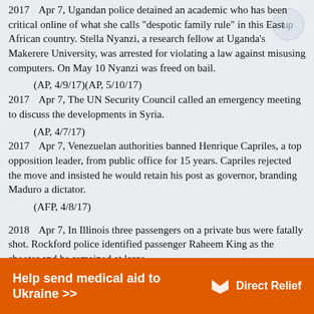2017       Apr 7, Ugandan police detained an academic who has been critical online of what she calls "despotic family rule" in this East African country. Stella Nyanzi, a research fellow at Uganda's Makerere University, was arrested for violating a law against misusing computers. On May 10 Nyanzi was freed on bail.
(AP, 4/9/17)(AP, 5/10/17)
2017       Apr 7, The UN Security Council called an emergency meeting to discuss the developments in Syria.
(AP, 4/7/17)
2017       Apr 7, Venezuelan authorities banned Henrique Capriles, a top opposition leader, from public office for 15 years. Capriles rejected the move and insisted he would retain his post as governor, branding Maduro a dictator.
(AFP, 4/8/17)
2018       Apr 7, In Illinois three passengers on a private bus were fatally shot. Rockford police identified passenger Raheem King as the shooter and he remained at large.
Help send medical aid to Ukraine >>   Direct Relief